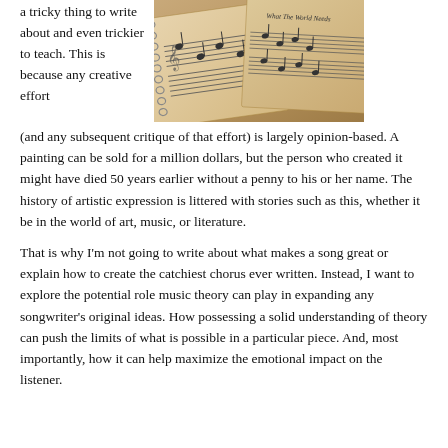a tricky thing to write about and even trickier to teach.  This is because any creative effort
[Figure (photo): A photo of several sheets of music notation/sheet music overlapping, with text 'What The World Needs' visible on one sheet. Warm tan/brown tones.]
(and any subsequent critique of that effort) is largely opinion-based.  A painting can be sold for a million dollars, but the person who created it might have died 50 years earlier without a penny to his or her name.  The history of artistic expression is littered with stories such as this, whether it be in the world of art, music, or literature.
That is why I'm not going to write about what makes a song great or explain how to create the catchiest chorus ever written.  Instead, I want to explore the potential role music theory can play in expanding any songwriter's original ideas.  How possessing a solid understanding of theory can push the limits of what is possible in a particular piece.  And, most importantly, how it can help maximize the emotional impact on the listener.